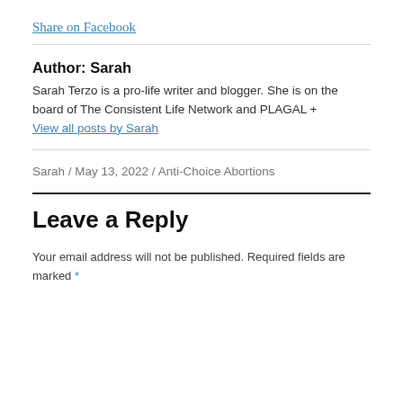Share on Facebook
Author: Sarah
Sarah Terzo is a pro-life writer and blogger. She is on the board of The Consistent Life Network and PLAGAL + View all posts by Sarah
Sarah / May 13, 2022 / Anti-Choice Abortions
Leave a Reply
Your email address will not be published. Required fields are marked *